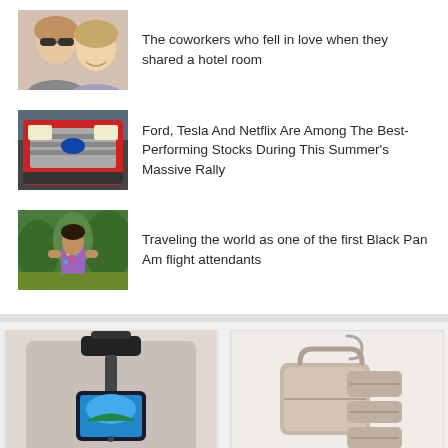[Figure (photo): Two women smiling, selfie photo with sunglasses]
The coworkers who fell in love when they shared a hotel room
[Figure (photo): Red Ford truck front grille, parked cars in background]
Ford, Tesla And Netflix Are Among The Best-Performing Stocks During This Summer’s Massive Rally
[Figure (photo): Person standing outdoors among green trees in a colorful shirt]
Traveling the world as one of the first Black Pan Am flight attendants
[Figure (photo): Universal Airplane in Flight Phone Mount, a phone holder clipped to airplane seat headrest]
Universal Airplane in Flight Phone Mount, Handsfree
[Figure (photo): BAGSMART Toiletry Bag, pink travel bag with hanging organizer unfolded]
BAGSMART Toiletry Bag Travel Bag with hanging